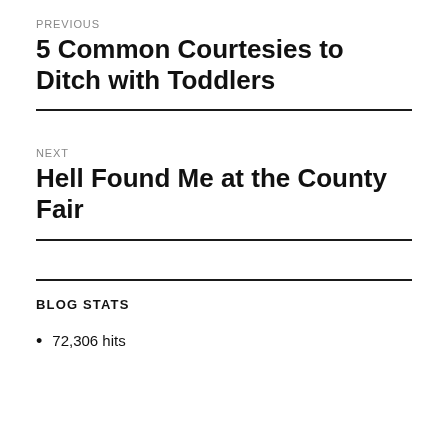PREVIOUS
5 Common Courtesies to Ditch with Toddlers
NEXT
Hell Found Me at the County Fair
BLOG STATS
72,306 hits